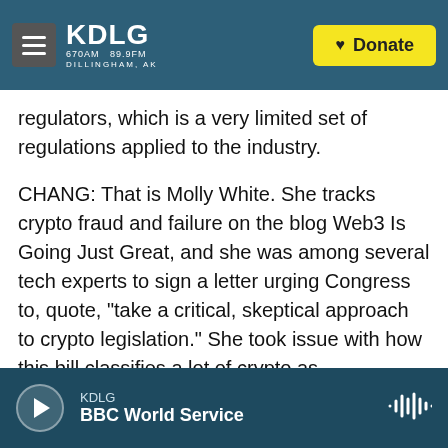KDLG 670AM 89.9FM DILLINGHAM, AK | Donate
regulators, which is a very limited set of regulations applied to the industry.
CHANG: That is Molly White. She tracks crypto fraud and failure on the blog Web3 Is Going Just Great, and she was among several tech experts to sign a letter urging Congress to, quote, "take a critical, skeptical approach to crypto legislation." She took issue with how this bill classifies a lot of crypto as commodities to be regulated by the CFTC as opposed to classifying it as securities to be regulated by the much larger SEC, the agency the crypto industry views as less friendly.
KDLG | BBC World Service